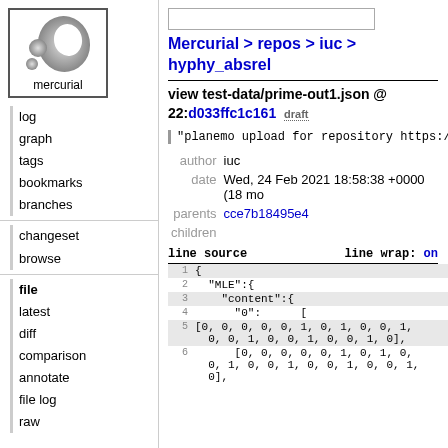[Figure (logo): Mercurial logo - grey swirl/comma shape with two circles, text 'mercurial' below]
log
graph
tags
bookmarks
branches
changeset
browse
file (bold)
latest
diff
comparison
annotate
file log
raw
Mercurial > repos > iuc > hyphy_absrel
view test-data/prime-out1.json @ 22:d033ffc1c161  draft
"planemo upload for repository https://git
author iuc
date Wed, 24 Feb 2021 18:58:38 +0000 (18 mo
parents cce7b18495e4
children
line source    line wrap: on
1  {
2    "MLE":{
3      "content":{
4        "0":      [
5  [0, 0, 0, 0, 0, 1, 0, 1, 0, 0, 1,
   0, 0, 1, 0, 0, 1, 0, 0, 1, 0],
6      [0, 0, 0, 0, 0, 1, 0, 1, 0,
   0, 1, 0, 0, 1, 0, 0, 1, 0, 0, 1,
   0],